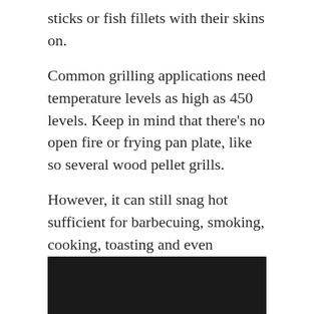sticks or fish fillets with their skins on.
Common grilling applications need temperature levels as high as 450 levels. Keep in mind that there's no open fire or frying pan plate, like so several wood pellet grills.
However, it can still snag hot sufficient for barbecuing, smoking, cooking, toasting and even braising utilizing a cast-iron Dutch stove. Besides baking pizzas, biscuits, as well as smoky cornbreads, it likewise has the cozy functions.
Should You Buy The Z Grill 1000D?
[Figure (photo): Dark/black rectangular image area, likely a photo of the Z Grill 1000D grill, partially visible at the bottom of the page.]